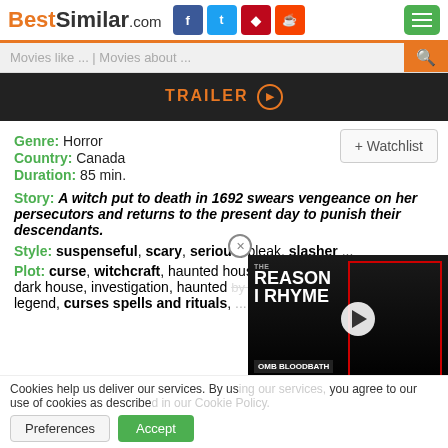BestSimilar.com
Movies like ... | Movies about ...
TRAILER ▶
Genre: Horror
Country: Canada
Duration: 85 min.
+ Watchlist
Story: A witch put to death in 1692 swears vengeance on her persecutors and returns to the present day to punish their descendants.
Style: suspenseful, scary, serious, bleak, slasher ...
Plot: curse, witchcraft, haunted house, supernatural, witch, old dark house, investigation, haunted by the past, vengeance, urban legend, curses spells and rituals, ...
[Figure (screenshot): Video ad overlay showing 'The Reason I Rhyme' by OMB Bloodbath with a play button]
Cookies help us deliver our services. By using our services, you agree to our use of cookies as described in our Cookie Policy.
Preferences   Accept